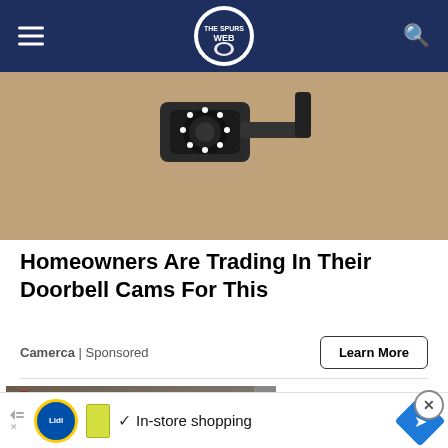The Spurs Web
[Figure (photo): Security camera mounted on a wall]
Homeowners Are Trading In Their Doorbell Cams For This
Camerca | Sponsored
Learn More
[Figure (screenshot): Advertisement overlay with 'by troweprice.com' text and Learn More button with close buttons]
[Figure (screenshot): Bottom ad banner showing Lidl logo with In-store shopping text and navigation icon]